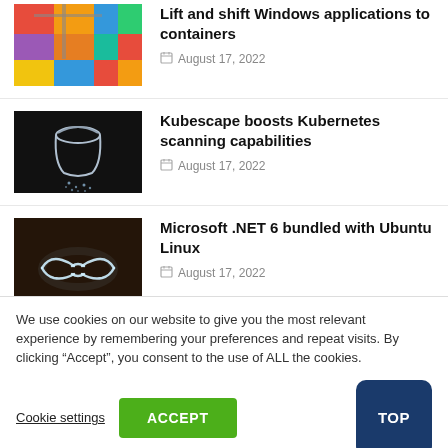[Figure (photo): Colorful shipping containers being lifted by a crane]
Lift and shift Windows applications to containers
August 17, 2022
[Figure (photo): A metal bucket with water droplets on a dark background]
Kubescape boosts Kubernetes scanning capabilities
August 17, 2022
[Figure (photo): Neon light art of two hands shaking on a dark background]
Microsoft .NET 6 bundled with Ubuntu Linux
August 17, 2022
We use cookies on our website to give you the most relevant experience by remembering your preferences and repeat visits. By clicking “Accept”, you consent to the use of ALL the cookies.
Cookie settings
ACCEPT
TOP